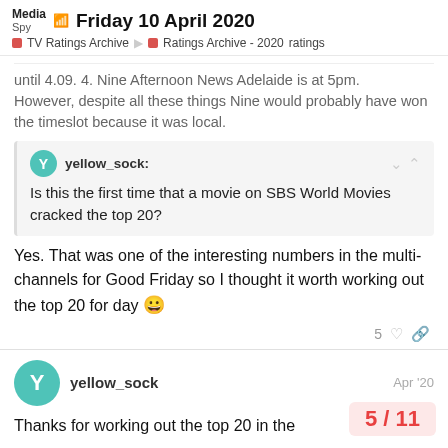Friday 10 April 2020 | TV Ratings Archive | Ratings Archive - 2020 | ratings
until 4.09. 4. Nine Afternoon News Adelaide is at 5pm. However, despite all these things Nine would probably have won the timeslot because it was local.
yellow_sock: Is this the first time that a movie on SBS World Movies cracked the top 20?
Yes. That was one of the interesting numbers in the multi-channels for Good Friday so I thought it worth working out the top 20 for day 😀
yellow_sock Apr '20
Thanks for working out the top 20 in the
5 / 11